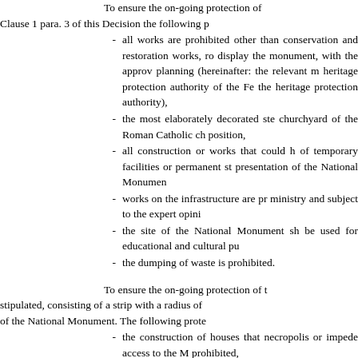To ensure the on-going protection of Clause 1 para. 3 of this Decision the following p
all works are prohibited other than conservation and restoration works, ro display the monument, with the approv planning (hereinafter: the relevant m heritage protection authority of the Fe the heritage protection authority),
the most elaborately decorated ste churchyard of the Roman Catholic ch position,
all construction or works that could h of temporary facilities or permanent st presentation of the National Monumen
works on the infrastructure are pr ministry and subject to the expert opini
the site of the National Monument sh be used for educational and cultural pu
the dumping of waste is prohibited.
To ensure the on-going protection of t stipulated, consisting of a strip with a radius of of the National Monument. The following prote
the construction of houses that necropolis or impede access to the M prohibited,
infrastructure works are prohibited archaeologically and properly investiga
on completion of these investigativ basis of a report on the site, whether t